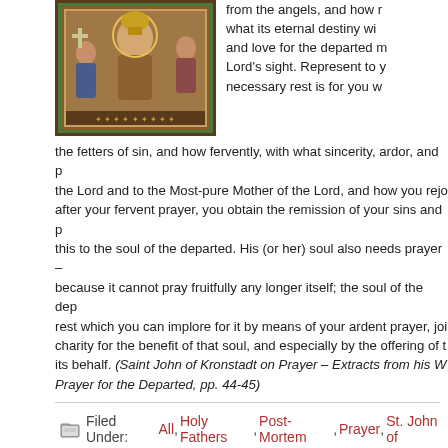[Figure (photo): Religious icon painting showing figures including Mary and other saints in a decorative bordered frame]
from the angels, and how r... what its eternal destiny wi... and love for the departed m... Lord's sight. Represent to y... necessary rest is for you w... the fetters of sin, and how fervently, with what sincerity, ardor, and p... the Lord and to the Most-pure Mother of the Lord, and how you rejo... after your fervent prayer, you obtain the remission of your sins and p... this to the soul of the departed. His (or her) soul also needs prayer – because it cannot pray fruitfully any longer itself; the soul of the dep... rest which you can implore for it by means of your ardent prayer, joi... charity for the benefit of that soul, and especially by the offering of t... its behalf. (Saint John of Kronstadt on Prayer – Extracts from his W... Prayer for the Departed, pp. 44-45)
Filed Under: All, Holy Fathers, Post-Mortem, Prayer, St. John of…
On Those Who Say That the Scriptures Err
Sunday, June 16, 2013 by Admin
[Figure (photo): Photo of St. John of Kronstadt]
St. John of Kronstadt 1829-19...